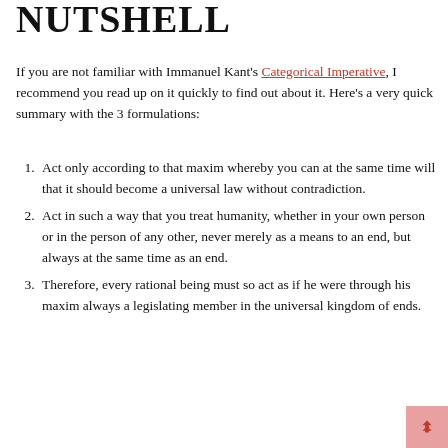NUTSHELL
If you are not familiar with Immanuel Kant's Categorical Imperative, I recommend you read up on it quickly to find out about it. Here's a very quick summary with the 3 formulations:
Act only according to that maxim whereby you can at the same time will that it should become a universal law without contradiction.
Act in such a way that you treat humanity, whether in your own person or in the person of any other, never merely as a means to an end, but always at the same time as an end.
Therefore, every rational being must so act as if he were through his maxim always a legislating member in the universal kingdom of ends.